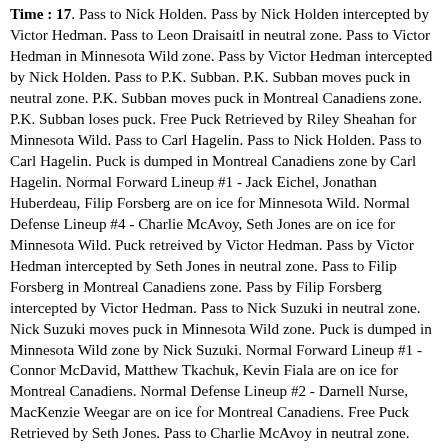Time : 17. Pass to Nick Holden. Pass by Nick Holden intercepted by Victor Hedman. Pass to Leon Draisaitl in neutral zone. Pass to Victor Hedman in Minnesota Wild zone. Pass by Victor Hedman intercepted by Nick Holden. Pass to P.K. Subban. P.K. Subban moves puck in neutral zone. P.K. Subban moves puck in Montreal Canadiens zone. P.K. Subban loses puck. Free Puck Retrieved by Riley Sheahan for Minnesota Wild. Pass to Carl Hagelin. Pass to Nick Holden. Pass to Carl Hagelin. Puck is dumped in Montreal Canadiens zone by Carl Hagelin. Normal Forward Lineup #1 - Jack Eichel, Jonathan Huberdeau, Filip Forsberg are on ice for Minnesota Wild. Normal Defense Lineup #4 - Charlie McAvoy, Seth Jones are on ice for Minnesota Wild. Puck retreived by Victor Hedman. Pass by Victor Hedman intercepted by Seth Jones in neutral zone. Pass to Filip Forsberg in Montreal Canadiens zone. Pass by Filip Forsberg intercepted by Victor Hedman. Pass to Nick Suzuki in neutral zone. Nick Suzuki moves puck in Minnesota Wild zone. Puck is dumped in Minnesota Wild zone by Nick Suzuki. Normal Forward Lineup #1 - Connor McDavid, Matthew Tkachuk, Kevin Fiala are on ice for Montreal Canadiens. Normal Defense Lineup #2 - Darnell Nurse, MacKenzie Weegar are on ice for Montreal Canadiens. Free Puck Retrieved by Seth Jones. Pass to Charlie McAvoy in neutral zone. Charlie McAvoy moves puck in Montreal Canadiens zone. Pass by Charlie McAvoy intercepted by Darnell Nurse. Pass to Connor McDavid in neutral zone. Connor McDavid moves puck in Minnesota Wild zone. Pass to